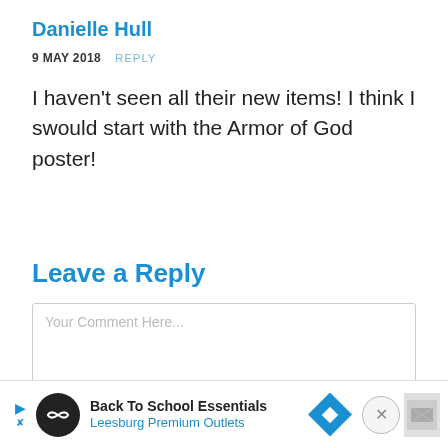Danielle Hull
9 MAY 2018   REPLY
I haven't seen all their new items! I think I swould start with the Armor of God poster!
Leave a Reply
Your Comment Here...
[Figure (screenshot): Advertisement banner: Back To School Essentials – Leesburg Premium Outlets, with navigation arrows, logo circle, directional sign icon, close button, and placeholder image.]